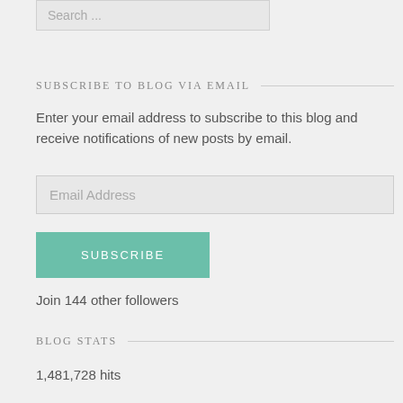Search ...
SUBSCRIBE TO BLOG VIA EMAIL
Enter your email address to subscribe to this blog and receive notifications of new posts by email.
Email Address
SUBSCRIBE
Join 144 other followers
BLOG STATS
1,481,728 hits